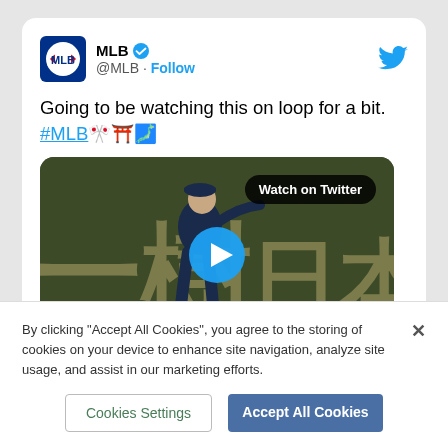[Figure (screenshot): MLB Twitter/X post card showing @MLB account with verified badge, tweet text 'Going to be watching this on loop for a bit. #MLB🎌⛩️🗾', and a video thumbnail of a baseball player throwing in a Japanese stadium with 'Watch on Twitter' badge and blue play button.]
By clicking "Accept All Cookies", you agree to the storing of cookies on your device to enhance site navigation, analyze site usage, and assist in our marketing efforts.
Cookies Settings
Accept All Cookies